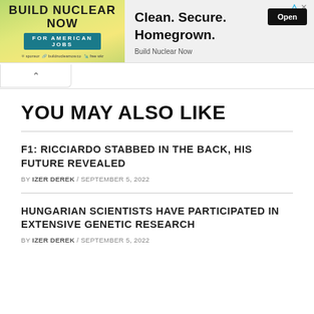[Figure (other): Advertisement banner for 'Build Nuclear Now' campaign. Left side has yellow-green illustrated background with bold text 'BUILD NUCLEAR NOW' and 'FOR AMERICAN JOBS' on a teal strip. Right side shows 'Clean. Secure. Homegrown.' headline with 'Build Nuclear Now' brand name and an 'Open' button.]
YOU MAY ALSO LIKE
F1: RICCIARDO STABBED IN THE BACK, HIS FUTURE REVEALED
BY IZER DEREK / SEPTEMBER 5, 2022
HUNGARIAN SCIENTISTS HAVE PARTICIPATED IN EXTENSIVE GENETIC RESEARCH
BY IZER DEREK / SEPTEMBER 5, 2022